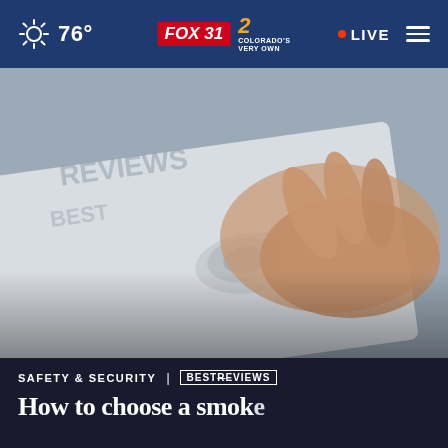76° | FOX 31 2 COLORADO'S VERY OWN | LIVE
[Figure (photo): Close-up photo of a hand pressing or testing a smoke detector against a white surface with text/markings visible]
SAFETY & SECURITY | BESTREVIEWS
How to choose a smoke...